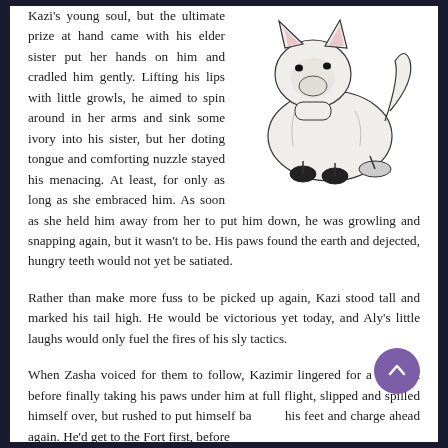[Figure (illustration): Line drawing illustration of a wolf pup / young wolf sitting, white/light colored with black paws and nose details, facing left]
Kazi's young soul, but the ultimate prize at hand came with his elder sister put her hands on him and cradled him gently. Lifting his lips with little growls, he aimed to spin around in her arms and sink some ivory into his sister, but her doting tongue and comforting nuzzle stayed his menacing. At least, for only as long as she embraced him. As soon as she held him away from her to put him down, he was growling and snapping again, but it wasn't to be. His paws found the earth and dejected, hungry teeth would not yet be satiated.
Rather than make more fuss to be picked up again, Kazi stood tall and marked his tail high. He would be victorious yet today, and Aly's little laughs would only fuel the fires of his sly tactics.
When Zasha voiced for them to follow, Kazimir lingered for a moment before finally taking his paws under him at full flight, slipped and spilled himself over, but rushed to put himself back on his feet and charge ahead again. He'd get to the Fort first, before